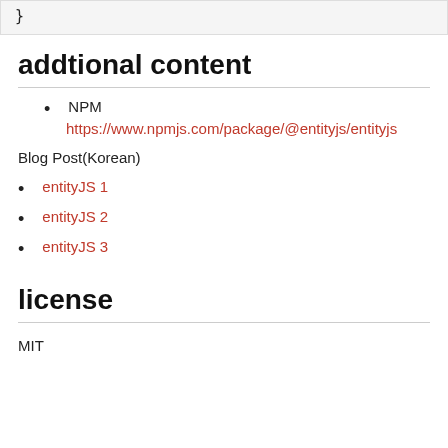}
addtional content
NPM
https://www.npmjs.com/package/@entityjs/entityjs
Blog Post(Korean)
entityJS 1
entityJS 2
entityJS 3
license
MIT